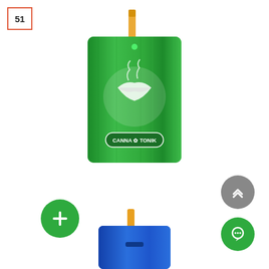[Figure (photo): Green aluminium dugout device (Canna Tonik brand) with lips logo, 3 inches, with a cigarette/bat inserted at top. Green metallic rectangular body.]
Green Lips Aluminium Dugout 3 Inches
SKU: ALSGRELIP
Login to see price
[Figure (photo): Blue aluminium dugout device, partial view at bottom of page, similar style to the green one above.]